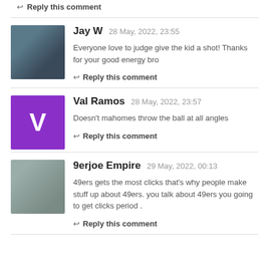↩ Reply this comment
Jay W  28 May, 2022, 23:55
Everyone love to judge give the kid a shot! Thanks for your good energy bro
↩ Reply this comment
Val Ramos  28 May, 2022, 23:57
Doesn't mahomes throw the ball at all angles
↩ Reply this comment
9erjoe Empire  29 May, 2022, 00:13
49ers gets the most clicks that's why people make stuff up about 49ers. you talk about 49ers you going to get clicks period .
↩ Reply this comment